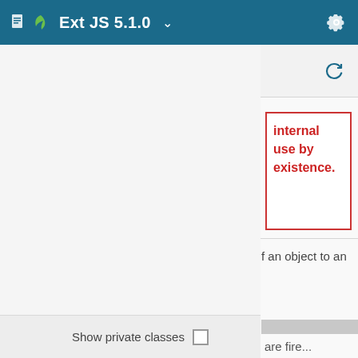Ext JS 5.1.0
internal use by existence.
f an object to an
view source
are fire...
Show private classes